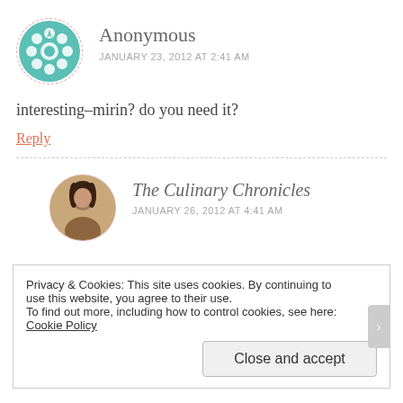[Figure (illustration): Teal geometric flower/mandala avatar in a dashed circular border]
Anonymous
JANUARY 23, 2012 AT 2:41 AM
interesting–mirin? do you need it?
Reply
[Figure (photo): Photo of a woman with dark hair in a dashed circular border]
The Culinary Chronicles
JANUARY 26, 2012 AT 4:41 AM
Privacy & Cookies: This site uses cookies. By continuing to use this website, you agree to their use.
To find out more, including how to control cookies, see here: Cookie Policy
Close and accept